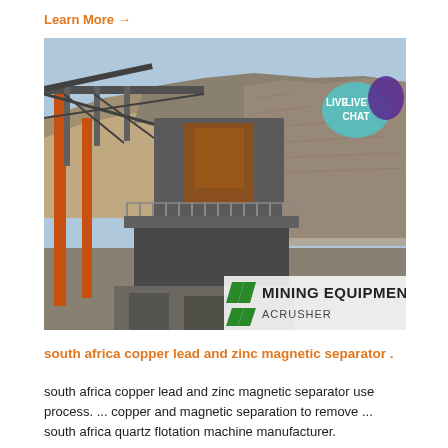Learn More →
[Figure (photo): Large industrial mining crusher machine at a quarry site with rocky terrain in the background. Orange structural supports visible on the left. A green and white 'MINING EQUIPMENT ACRUSHER' logo banner appears at the bottom right. A 'LIVE CHAT' speech bubble badge appears at the top right corner of the image.]
south africa copper lead and zinc magnetic separator .
south africa copper lead and zinc magnetic separator use process. ... copper and magnetic separation to remove ... south africa quartz flotation machine manufacturer.